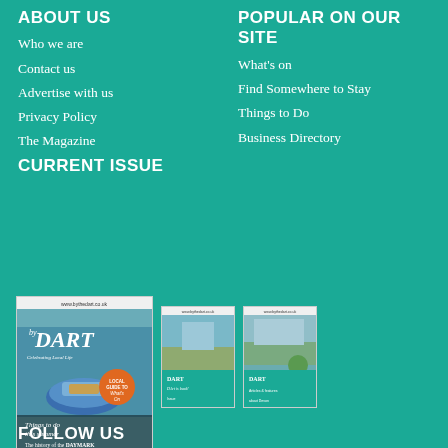ABOUT US
Who we are
Contact us
Advertise with us
Privacy Policy
The Magazine
POPULAR ON OUR SITE
What's on
Find Somewhere to Stay
Things to Do
Business Directory
CURRENT ISSUE
[Figure (photo): Three magazine covers for 'By the Dart' local magazine, showing coastal and river scenes. The main/largest cover features a blue boat on the River Dart with text 'Things to do this summer' and 'The history of the DAYMARK'. Two smaller covers show other issues of the same magazine.]
FOLLOW US